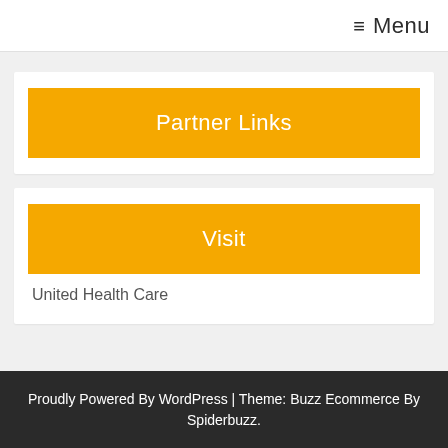☰ Menu
Partner Links
Visit
United Health Care
Proudly Powered By WordPress | Theme: Buzz Ecommerce By Spiderbuzz.